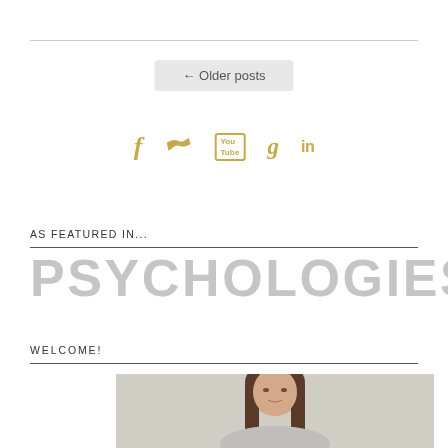← Older posts
[Figure (infographic): Social media icons row: Facebook (f), Twitter (bird), YouTube (Yt box), Google+ (g), LinkedIn (in) — all in gold/amber color]
AS FEATURED IN...
[Figure (logo): PSYCHOLOGIES logo in large bold light gray uppercase letters]
WELCOME!
[Figure (photo): Portrait photograph of a woman with long brown hair against a light gray background, cropped to show head and upper torso]